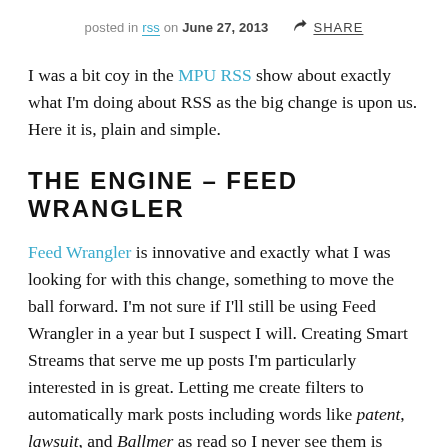posted in rss on June 27, 2013  SHARE
I was a bit coy in the MPU RSS show about exactly what I'm doing about RSS as the big change is upon us. Here it is, plain and simple.
THE ENGINE – FEED WRANGLER
Feed Wrangler is innovative and exactly what I was looking for with this change, something to move the ball forward. I'm not sure if I'll still be using Feed Wrangler in a year but I suspect I will. Creating Smart Streams that serve me up posts I'm particularly interested in is great. Letting me create filters to automatically mark posts including words like patent, lawsuit, and Ballmer as read so I never see them is magical. (If you are trying to wrap your head around